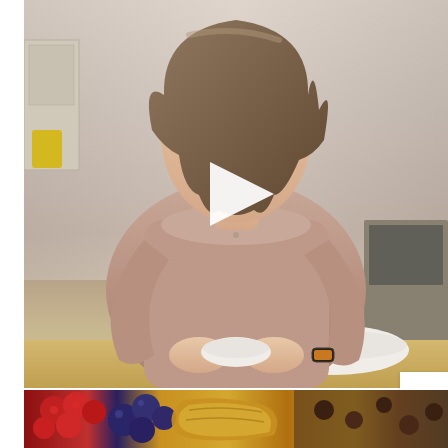[Figure (photo): A woman in a pink/mauve long-sleeve top standing in a kitchen, holding a small white bowl, with a white play button triangle overlay in the center of the image, partially cropped at the bottom showing a wooden counter with a bowl]
[Figure (photo): Close-up of food: raspberries, blueberries, walnuts, and what appears to be a pancake or waffle with syrup]